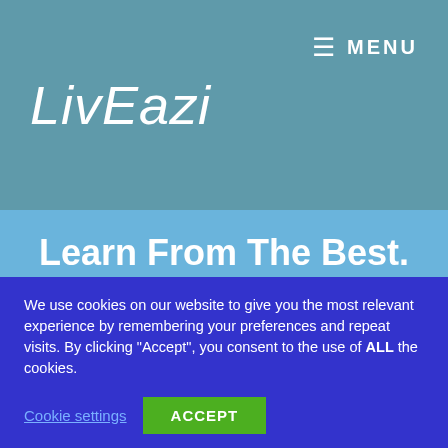LivEazi
Learn From The Best. U8’s Coach Martin Blacker 086 2393384
We use cookies on our website to give you the most relevant experience by remembering your preferences and repeat visits. By clicking “Accept”, you consent to the use of ALL the cookies.